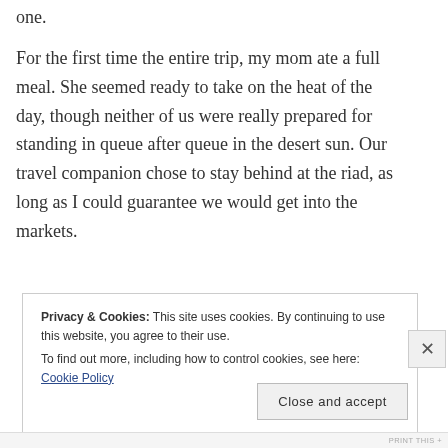one.
For the first time the entire trip, my mom ate a full meal. She seemed ready to take on the heat of the day, though neither of us were really prepared for standing in queue after queue in the desert sun. Our travel companion chose to stay behind at the riad, as long as I could guarantee we would get into the markets.
Privacy & Cookies: This site uses cookies. By continuing to use this website, you agree to their use.
To find out more, including how to control cookies, see here: Cookie Policy
Close and accept
PRINT THIS +